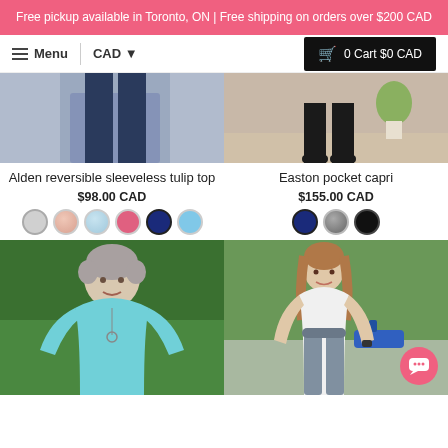Free pickup available in Toronto, ON | Free shipping on orders over $200 CAD
Menu | CAD ▼ | 0 Cart $0 CAD
[Figure (photo): Product photo top portion of Alden reversible sleeveless tulip top (legs in navy leggings)]
[Figure (photo): Product photo top portion of Easton pocket capri (woman's legs in black capri with heels near plant)]
Alden reversible sleeveless tulip top
$98.00 CAD
Easton pocket capri
$155.00 CAD
[Figure (photo): Woman with grey hair wearing a light blue sleeveless top outdoors among green bamboo plants]
[Figure (photo): Young woman in white top and grey wide-leg pants standing by pool with blue lounge chairs]